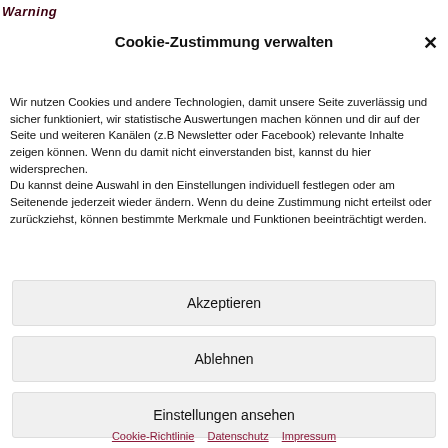Warning
Cookie-Zustimmung verwalten
Wir nutzen Cookies und andere Technologien, damit unsere Seite zuverlässig und sicher funktioniert, wir statistische Auswertungen machen können und dir auf der Seite und weiteren Kanälen (z.B Newsletter oder Facebook) relevante Inhalte zeigen können. Wenn du damit nicht einverstanden bist, kannst du hier widersprechen. Du kannst deine Auswahl in den Einstellungen individuell festlegen oder am Seitenende jederzeit wieder ändern. Wenn du deine Zustimmung nicht erteilst oder zurückziehst, können bestimmte Merkmale und Funktionen beeinträchtigt werden.
Akzeptieren
Ablehnen
Einstellungen ansehen
Cookie-Richtlinie   Datenschutz   Impressum